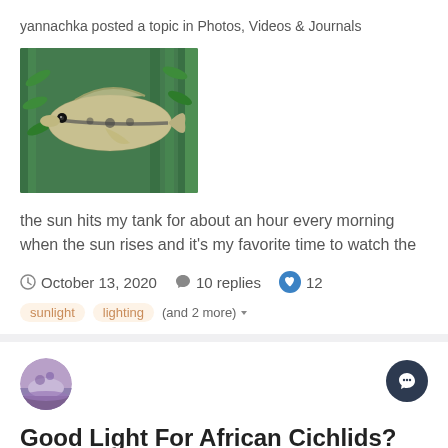yannachka posted a topic in Photos, Videos & Journals
[Figure (photo): A fish (appears to be a gourami or similar freshwater fish) photographed in an aquarium with green plants in the background. The fish is silvery with a dark lateral stripe and spotted/scaled pattern.]
the sun hits my tank for about an hour every morning when the sun rises and it's my favorite time to watch the
October 13, 2020   10 replies   12
sunlight   lighting   (and 2 more)
[Figure (photo): Small circular avatar image showing an aquarium or tank scene with pinkish/purple gravel and greenery visible.]
Good Light For African Cichlids?
Jacob Hill-Legion Aquatics posted a topic in General Discussion